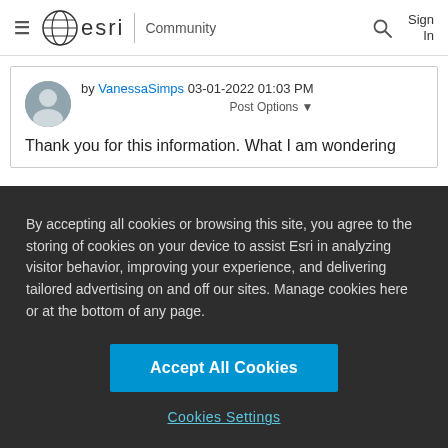esri Community | Sign In
by VanessaSimps 03-01-2022 01:03 PM
Post Options ▼
Thank you for this information. What I am wondering
By accepting all cookies or browsing this site, you agree to the storing of cookies on your device to assist Esri in analyzing visitor behavior, improving your experience, and delivering tailored advertising on and off our sites. Manage cookies here or at the bottom of any page.
Accept All Cookies
Cookies Settings